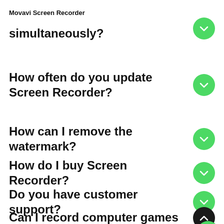Movavi Screen Recorder
simultaneously?
How often do you update Screen Recorder?
How can I remove the watermark?
How do I buy Screen Recorder?
Do you have customer support?
Can I record computer games with Movavi Screen Recorder?